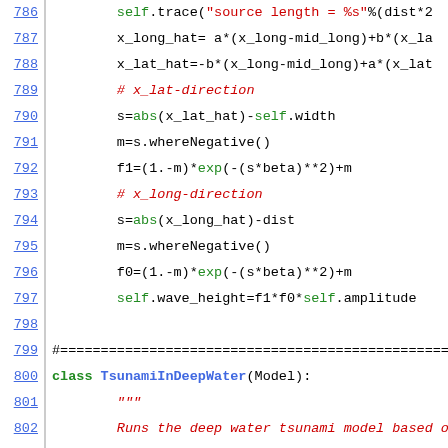[Figure (screenshot): Python source code viewer showing lines 786-808 of a tsunami model implementation, with line numbers in blue on the left, a vertical separator, and syntax-highlighted code in green, black, and red.]